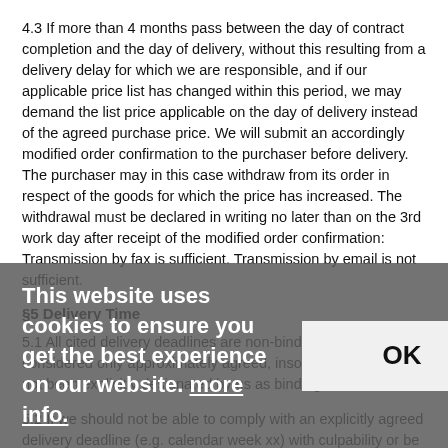4.3 If more than 4 months pass between the day of contract completion and the day of delivery, without this resulting from a delivery delay for which we are responsible, and if our applicable price list has changed within this period, we may demand the list price applicable on the day of delivery instead of the agreed purchase price. We will submit an accordingly modified order confirmation to the purchaser before delivery. The purchaser may in this case withdraw from its order in respect of the goods for which the price has increased. The withdrawal must be declared in writing no later than on the 3rd work day after receipt of the modified order confirmation: Transmission by fax is sufficient. Transmission by email is not sufficient.
§5 Delivery Time
5.1 All cited delivery deadlines are non-binding and are considered only approximately agreed, insofar as they have not been explicitly designated by us as binding.
5.2 If we should not be able to comply with an explicitly agreed delivery deadline (e.g. calendar week xx) with culpability or be delayed for other reasons, the purchaser must grant us an appropriate extension, which begins with expiration of the agreed delivery deadline. After unsuccessful expira[tion of the extension, the purchaser may withdraw from the contra[ct.
5.3 If [delivery becomes temporarily impossible or substantially impeded due to force majeure or for other exceptional circumstances due to no fault of our own, the agreed delivery time shall no...